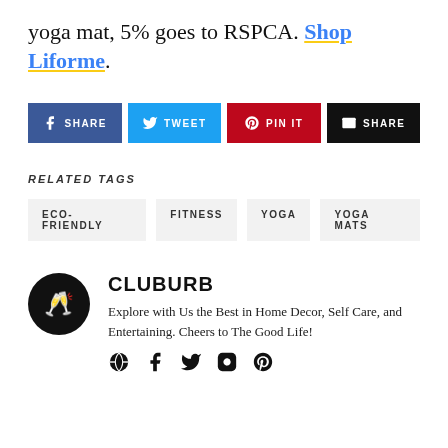yoga mat, 5% goes to RSPCA. Shop Liforme.
[Figure (other): Social share buttons: Facebook SHARE, Twitter TWEET, Pinterest PIN IT, Email SHARE]
RELATED TAGS
ECO-FRIENDLY
FITNESS
YOGA
YOGA MATS
CLUBURB
Explore with Us the Best in Home Decor, Self Care, and Entertaining. Cheers to The Good Life!
[Figure (other): Social media icons: globe/website, Facebook, Twitter, Instagram, Pinterest]